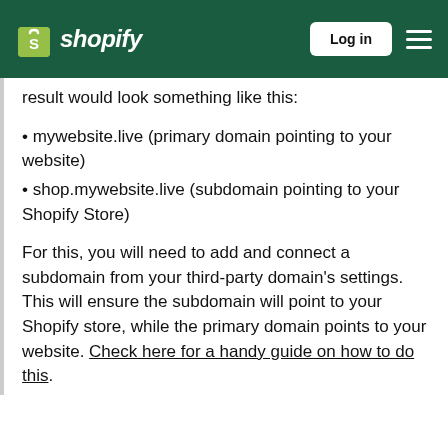shopify — Log in
result would look something like this:
mywebsite.live (primary domain pointing to your website)
shop.mywebsite.live (subdomain pointing to your Shopify Store)
For this, you will need to add and connect a subdomain from your third-party domain's settings. This will ensure the subdomain will point to your Shopify store, while the primary domain points to your website. Check here for a handy guide on how to do this.